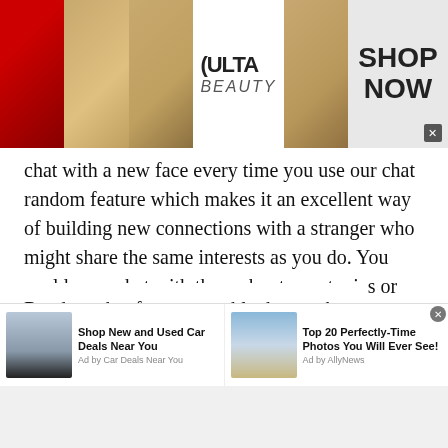[Figure (screenshot): Ulta Beauty advertisement banner with makeup images (lips, brush, eye), Ulta logo center, and Shop Now button on right]
chat with a new face every time you use our chat random feature which makes it an excellent way of building new connections with a stranger who might share the same interests as you do. You could even chat with them about new topics or issues that you did not know about.
Random chat features enable the youth, or teenagers to join a chatroom and speak with someone of their age, from the same gender or even from opposite genders. Since our site has more than 12000 users daily, you can chat with a diverse range of people.
[Figure (screenshot): Bottom ad strip with two ads: 'Shop New and Used Car Deals Near You' by Car Deals Near You, and 'Top 20 Perfectly-Time Photos You Will Ever See!' by AllyNews]